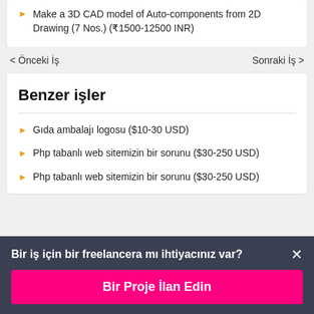Make a 3D CAD model of Auto-components from 2D Drawing (7 Nos.) (₹1500-12500 INR)
< Önceki İş
Sonraki İş >
Benzer işler
Gıda ambalajı logosu ($10-30 USD)
Php tabanlı web sitemizin bir sorunu ($30-250 USD)
Php tabanlı web sitemizin bir sorunu ($30-250 USD)
Bir iş için bir freelancera mı ihtiyacınız var?
Bir Proje İlan Edin